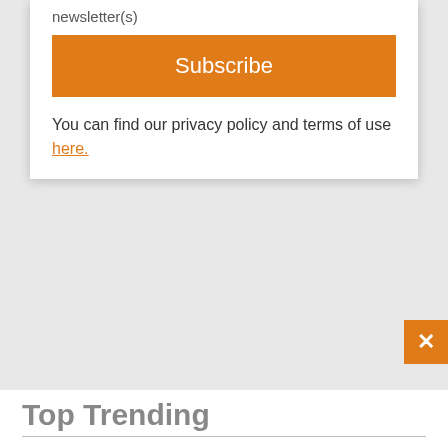newsletter(s)
Subscribe
You can find our privacy policy and terms of use here.
Top Trending
1 Despite Sweeping Sanctions Over The Ukraine War, Russian Unemployment Touches Post-Soviet Low. Here's Why.
2 Wrecked Nazi Warships Of The Danube